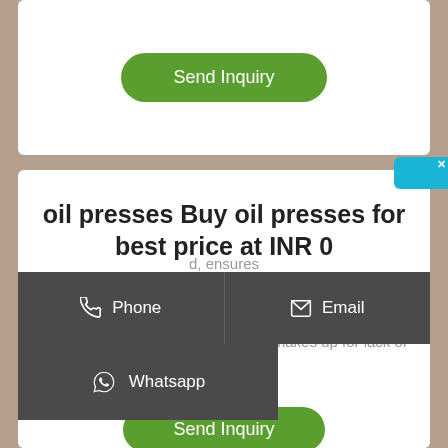[Figure (screenshot): Green 'Send Inquiry' button on white card background at top]
oil presses Buy oil presses for best price at INR 0
Goyum 150 Oil Press adopts the latest oil extraction process technology, currently, this technology is the most advanced in the world, and it makes up for lack of [obscured], ensures [obscured] of oilcake, to provide a guarantee as high protein forage material.
[Figure (screenshot): Dark gray bar with Phone and Email contact buttons]
[Figure (screenshot): Dark gray bar with Whatsapp button]
[Figure (screenshot): Green 'Send Inquiry' button at bottom]
[Figure (screenshot): Blue Chinese language chat widget button on right side reading 在线咨询 (online consultation)]